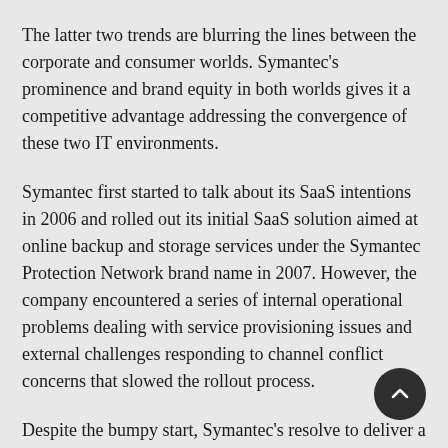The latter two trends are blurring the lines between the corporate and consumer worlds. Symantec's prominence and brand equity in both worlds gives it a competitive advantage addressing the convergence of these two IT environments.
Symantec first started to talk about its SaaS intentions in 2006 and rolled out its initial SaaS solution aimed at online backup and storage services under the Symantec Protection Network brand name in 2007. However, the company encountered a series of internal operational problems dealing with service provisioning issues and external challenges responding to channel conflict concerns that slowed the rollout process.
Despite the bumpy start, Symantec's resolve to deliver a full portfolio of SaaS solutions was made clear throughout this week's conference.